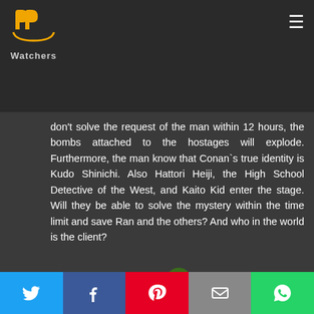PP Watchers logo and hamburger menu
don't solve the request of the man within 12 hours, the bombs attached to the hostages will explode. Furthermore, the man know that Conan`s true identity is Kudo Shinichi. Also Hattori Heiji, the High School Detective of the West, and Kaito Kid enter the stage. Will they be able to solve the mystery within the time limit and save Ran and the others? And who in the world is the client?
[Figure (other): IMDb badge and FilmAffinity logo with rating 7.1]
[Figure (other): Rotten Tomatoes tomato icon with N/A rating (partially visible)]
Social share buttons: Twitter, Facebook, Pinterest, Email, WhatsApp